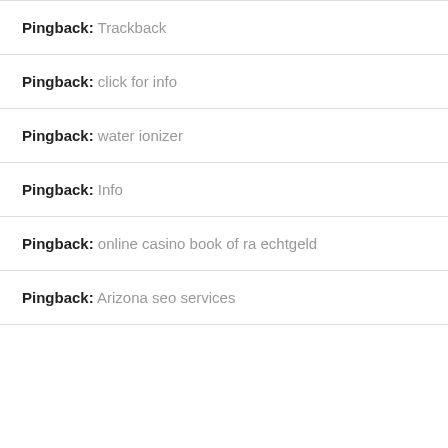Pingback: Trackback
Pingback: click for info
Pingback: water ionizer
Pingback: Info
Pingback: online casino book of ra echtgeld
Pingback: Arizona seo services